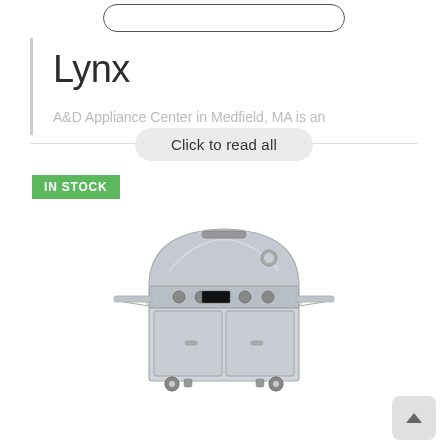[Figure (other): Top navigation button bar with a rounded rectangle button outline]
Lynx
A&D Appliance Center in Medfield, MA is an
Click to read all
IN STOCK
[Figure (photo): Stainless steel outdoor barbecue grill on a cart with two doors, side shelves, and control knobs]